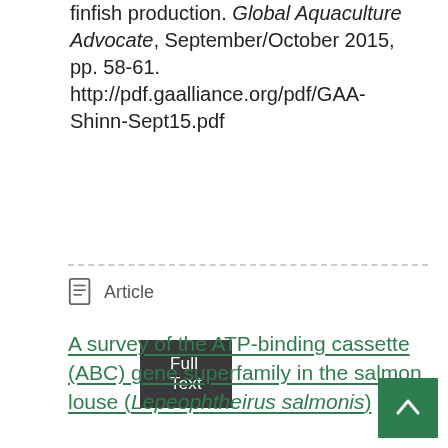finfish production. Global Aquaculture Advocate, September/October 2015, pp. 58-61. http://pdf.gaalliance.org/pdf/GAA-Shinn-Sept15.pdf
Full Text
Article
A survey of the ATP-binding cassette (ABC) gene superfamily in the salmon louse (Lepeophtheirus salmonis)